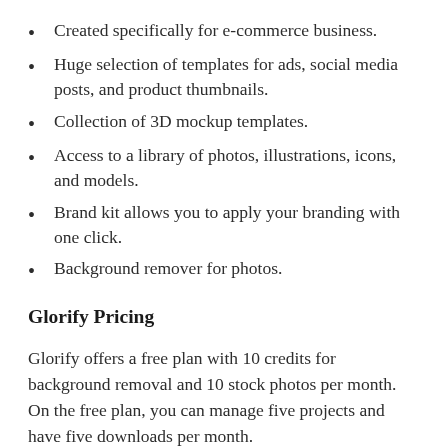Created specifically for e-commerce business.
Huge selection of templates for ads, social media posts, and product thumbnails.
Collection of 3D mockup templates.
Access to a library of photos, illustrations, icons, and models.
Brand kit allows you to apply your branding with one click.
Background remover for photos.
Glorify Pricing
Glorify offers a free plan with 10 credits for background removal and 10 stock photos per month. On the free plan, you can manage five projects and have five downloads per month.